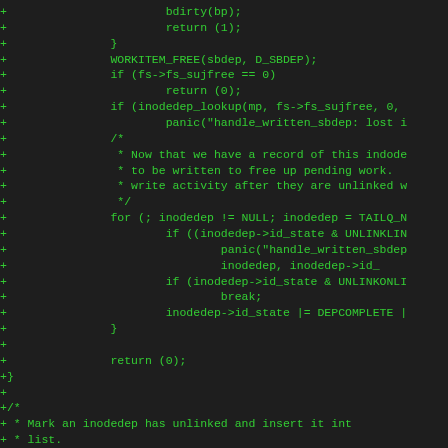[Figure (other): Source code diff (patch format) showing C code additions with green '+' prefixed lines on dark background. Code involves bdirty, WORKITEM_FREE, fs_sujfree, inodedep_lookup, handle_written_sbdep, TAILQ loop, UNLINKLIN, UNLINKONLI, DEPCOMPLETE, and a new static void function comment block.]